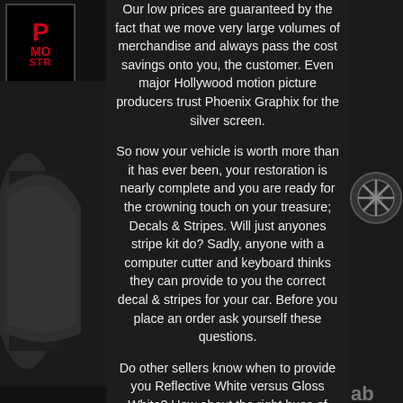[Figure (logo): Phoenix Graphix logo with P, MO, STR text in red on black background]
Our low prices are guaranteed by the fact that we move very large volumes of merchandise and always pass the cost savings onto you, the customer. Even major Hollywood motion picture producers trust Phoenix Graphix for the silver screen.
So now your vehicle is worth more than it has ever been, your restoration is nearly complete and you are ready for the crowning touch on your treasure; Decals & Stripes. Will just anyones stripe kit do? Sadly, anyone with a computer cutter and keyboard thinks they can provide to you the correct decal & stripes for your car. Before you place an order ask yourself these questions.
Do other sellers know when to provide you Reflective White versus Gloss White? How about the right hues of Red? Or, when multi-colored decals are used? What if Metallic colors are originally correct?
E-Bay sellers often ignore metallic because they cannot digitally print metallic and cant find correct vinyl! They think the customer will not know or